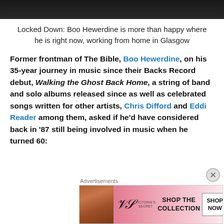[Figure (photo): Dark photo strip at the top of the page, partially visible]
Locked Down: Boo Hewerdine is more than happy where he is right now, working from home in Glasgow
Former frontman of The Bible, Boo Hewerdine, on his 35-year journey in music since their Backs Record debut, Walking the Ghost Back Home, a string of band and solo albums released since as well as celebrated songs written for other artists, Chris Difford and Eddi Reader among them, asked if he'd have considered back in '87 still being involved in music when he turned 60:
Advertisements
[Figure (photo): Victoria's Secret advertisement banner with model and 'SHOP THE COLLECTION / SHOP NOW' text]